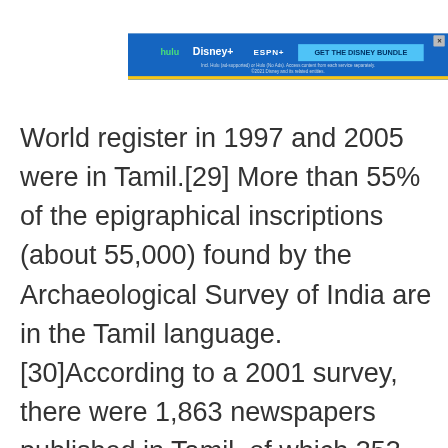[Figure (screenshot): Advertisement banner for Disney Bundle (Hulu, Disney+, ESPN+) with blue background and 'GET THE DISNEY BUNDLE' call-to-action button]
World register in 1997 and 2005 were in Tamil.[29] More than 55% of the epigraphical inscriptions (about 55,000) found by the Archaeological Survey of India are in the Tamil language.[30]According to a 2001 survey, there were 1,863 newspapers published in Tamil, of which 353 were dailies.[31] It has the oldest extantliterature amongst other Dravidian languages.[18] The variety and quality of classical Tamil literature